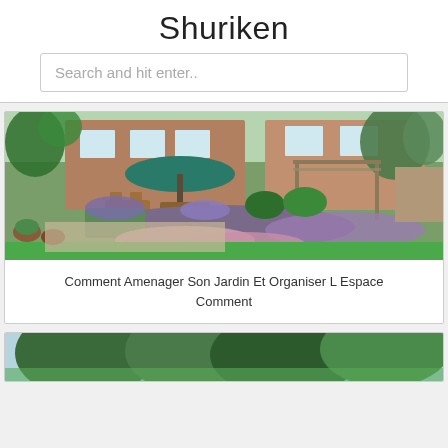Shuriken
Search and hit enter..
[Figure (photo): Garden photo showing a landscaped English garden with lavender, topiary, wooden furniture, green umbrella, brick house in background, flower borders]
Comment Amenager Son Jardin Et Organiser L Espace Comment
[Figure (photo): Partial view of a garden with trees, partially visible at bottom of page]